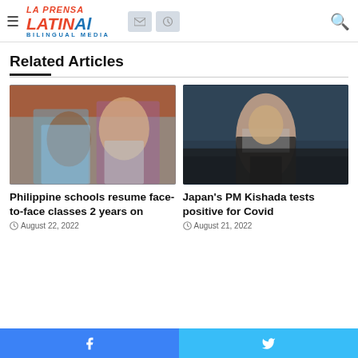La Prensa Latina Bilingual Media
Related Articles
[Figure (photo): A healthcare worker administering a vaccine or medical procedure to a young student in a school setting, with people in the background wearing masks]
Philippine schools resume face-to-face classes 2 years on
August 22, 2022
[Figure (photo): Japan's Prime Minister Kishida at a press conference, seated in front of dark blue curtains, wearing a suit]
Japan's PM Kishada tests positive for Covid
August 21, 2022
Facebook | Twitter social share buttons